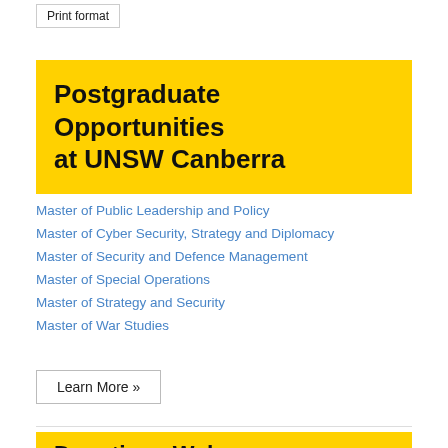Print format
Postgraduate Opportunities at UNSW Canberra
Master of Public Leadership and Policy
Master of Cyber Security, Strategy and Diplomacy
Master of Security and Defence Management
Master of Special Operations
Master of Strategy and Security
Master of War Studies
Learn More »
Donations Welcome